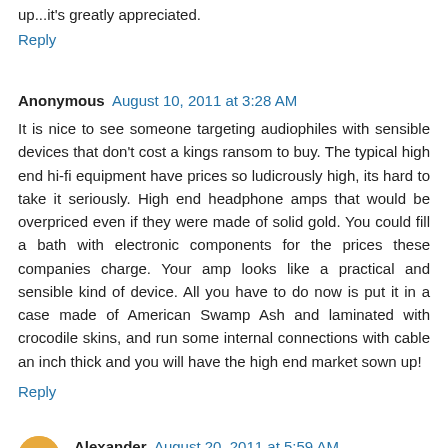up...it's greatly appreciated.
Reply
Anonymous  August 10, 2011 at 3:28 AM
It is nice to see someone targeting audiophiles with sensible devices that don't cost a kings ransom to buy. The typical high end hi-fi equipment have prices so ludicrously high, its hard to take it seriously. High end headphone amps that would be overpriced even if they were made of solid gold. You could fill a bath with electronic components for the prices these companies charge. Your amp looks like a practical and sensible kind of device. All you have to do now is put it in a case made of American Swamp Ash and laminated with crocodile skins, and run some internal connections with cable an inch thick and you will have the high end market sown up!
Reply
Alexander  August 20, 2011 at 5:59 AM